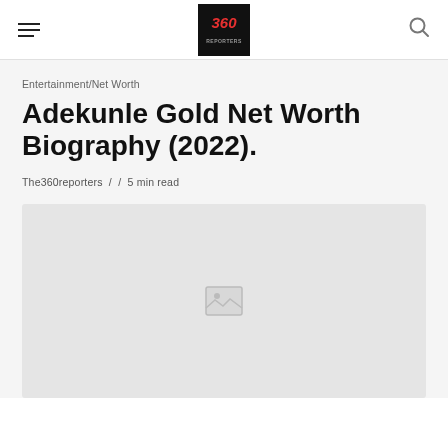The360reporters logo and navigation header
Entertainment/Net Worth
Adekunle Gold Net Worth Biography (2022).
The360reporters / / 5 min read
[Figure (photo): Image placeholder for Adekunle Gold article, shown as a grey rectangle with a broken image icon in the center]